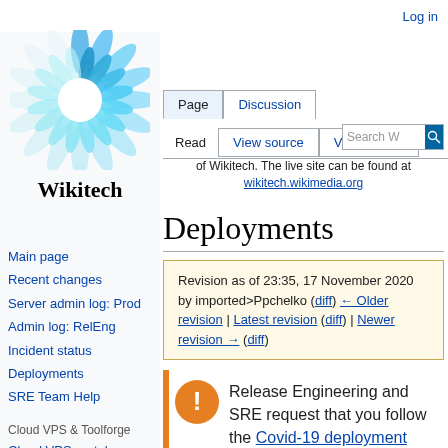Log in
[Figure (logo): Wikitech logo — blue sunflower/gear icon above the text 'Wikitech']
Page | Discussion | Read | View source | View history | Search W
of Wikitech. The live site can be found at wikitech.wikimedia.org
Deployments
Revision as of 23:35, 17 November 2020 by imported>Ppchelko (diff) ← Older revision | Latest revision (diff) | Newer revision → (diff)
Main page
Recent changes
Server admin log: Prod
Admin log: RelEng
Incident status
Deployments
SRE Team Help
Cloud VPS & Toolforge
Cloud VPS portal
Toolforge portal
Request VPS project
Admin log: Cloud VPS
Release Engineering and SRE request that you follow the Covid-19 deployment